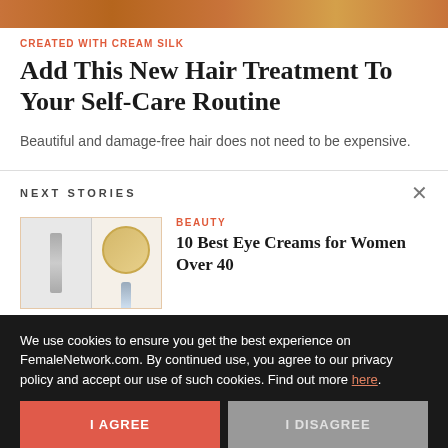[Figure (photo): Top banner image with warm brown/orange gradient color]
CREATED WITH CREAM SILK
Add This New Hair Treatment To Your Self-Care Routine
Beautiful and damage-free hair does not need to be expensive.
NEXT STORIES
[Figure (photo): Two cosmetic product images side by side — a syringe-like product on the left and a tube with golden circle on the right]
BEAUTY
10 Best Eye Creams for Women Over 40
We use cookies to ensure you get the best experience on FemaleNetwork.com. By continued use, you agree to our privacy policy and accept our use of such cookies. Find out more here.
I AGREE
I DISAGREE